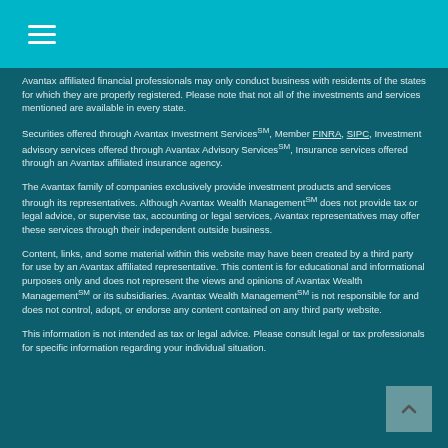Avantax [hamburger menu icon]
Avantax affiliated financial professionals may only conduct business with residents of the states for which they are properly registered. Please note that not all of the investments and services mentioned are available in every state.
Securities offered through Avantax Investment ServicesSM, Member FINRA, SIPC, Investment advisory services offered through Avantax Advisory ServicesSM, Insurance services offered through an Avantax affiliated insurance agency.
The Avantax family of companies exclusively provide investment products and services through its representatives. Although Avantax Wealth ManagementSM does not provide tax or legal advice, or supervise tax, accounting or legal services, Avantax representatives may offer these services through their independent outside business.
Content, links, and some material within this website may have been created by a third party for use by an Avantax affiliated representative. This content is for educational and informational purposes only and does not represent the views and opinions of Avantax Wealth ManagementSM or its subsidiaries. Avantax Wealth ManagementSM is not responsible for and does not control, adopt, or endorse any content contained on any third party website.
This information is not intended as tax or legal advice. Please consult legal or tax professionals for specific information regarding your individual situation.